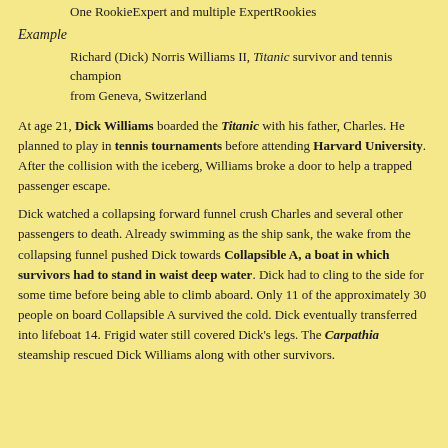One RookieExpert and multiple ExpertRookies
Example
Richard (Dick) Norris Williams II, Titanic survivor and tennis champion
from Geneva, Switzerland
At age 21, Dick Williams boarded the Titanic with his father, Charles. He planned to play in tennis tournaments before attending Harvard University. After the collision with the iceberg, Williams broke a door to help a trapped passenger escape.
Dick watched a collapsing forward funnel crush Charles and several other passengers to death. Already swimming as the ship sank, the wake from the collapsing funnel pushed Dick towards Collapsible A, a boat in which survivors had to stand in waist deep water. Dick had to cling to the side for some time before being able to climb aboard. Only 11 of the approximately 30 people on board Collapsible A survived the cold. Dick eventually transferred into lifeboat 14. Frigid water still covered Dick's legs. The Carpathia steamship rescued Dick Williams along with other survivors.